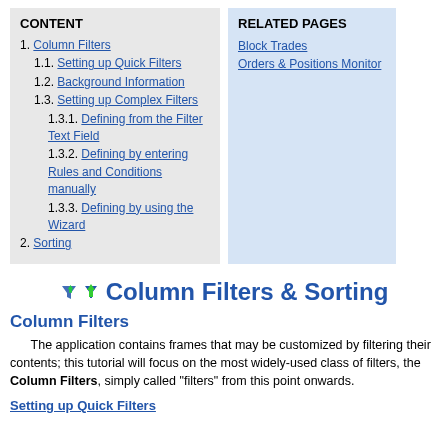| CONTENT | RELATED PAGES |
| --- | --- |
| 1. Column Filters
  1.1. Setting up Quick Filters
  1.2. Background Information
  1.3. Setting up Complex Filters
    1.3.1. Defining from the Filter Text Field
    1.3.2. Defining by entering Rules and Conditions manually
    1.3.3. Defining by using the Wizard
2. Sorting | Block Trades
Orders & Positions Monitor |
Column Filters & Sorting
Column Filters
The application contains frames that may be customized by filtering their contents; this tutorial will focus on the most widely-used class of filters, the Column Filters, simply called "filters" from this point onwards.
Setting up Quick Filters